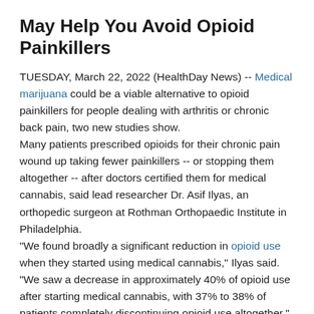May Help You Avoid Opioid Painkillers
TUESDAY, March 22, 2022 (HealthDay News) -- Medical marijuana could be a viable alternative to opioid painkillers for people dealing with arthritis or chronic back pain, two new studies show.
Many patients prescribed opioids for their chronic pain wound up taking fewer painkillers -- or stopping them altogether -- after doctors certified them for medical cannabis, said lead researcher Dr. Asif Ilyas, an orthopedic surgeon at Rothman Orthopaedic Institute in Philadelphia.
"We found broadly a significant reduction in opioid use when they started using medical cannabis," Ilyas said. "We saw a decrease in approximately 40% of opioid use after starting medical cannabis, with 37% to 38% of patients completely discontinuing opioid use altogether."